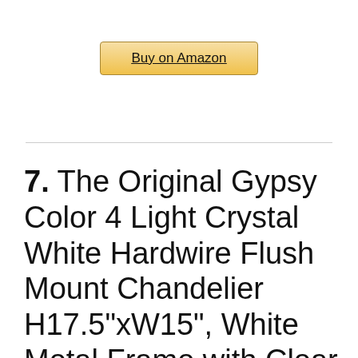[Figure (other): Buy on Amazon button with gold gradient background and underlined text]
7. The Original Gypsy Color 4 Light Crystal White Hardwire Flush Mount Chandelier H17.5"xW15", White Metal Frame with Clear Glass Stem and Clear Acrylic Crystals & Beads That Sparkle Just Like